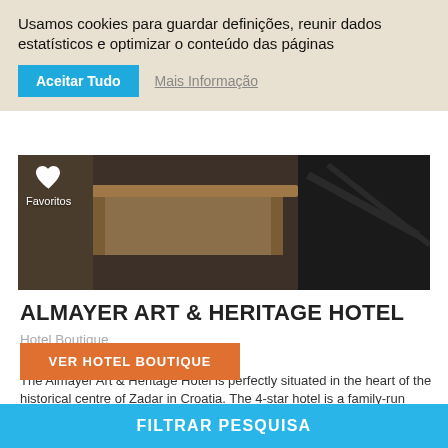Usamos cookies para guardar definições, reunir dados estatísticos e optimizar o conteúdo das páginas
Aceitar Tudo  |  Mais Informação
[Figure (photo): Hotel interior photo showing a wooden table and dark walls, with a Favoritos (favorites) button overlay]
ALMAYER ART & HERITAGE HOTEL
Hotel Boutique
Croatia / Dalmatian Coast / Zadar
The Almayer Art & Heritage Hotel is perfectly situated in the heart of the historical centre of Zadar in Croatia. The 4-star hotel is a family-run property with 13 rooms, nine in the main building and four in the annexe, surrounded by an attractiv...
Cidade  |  13 quartos  |  a partir de 130 EUR
VER HOTEL BOUTIQUE
FILTRAR PESQUISA